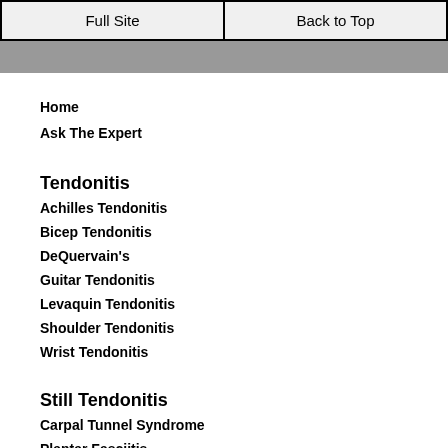Full Site | Back to Top
Home
Ask The Expert
Tendonitis
Achilles Tendonitis
Bicep Tendonitis
DeQuervain's
Guitar Tendonitis
Levaquin Tendonitis
Shoulder Tendonitis
Wrist Tendonitis
Still Tendonitis
Carpal Tunnel Syndrome
Plantar Fasciitis